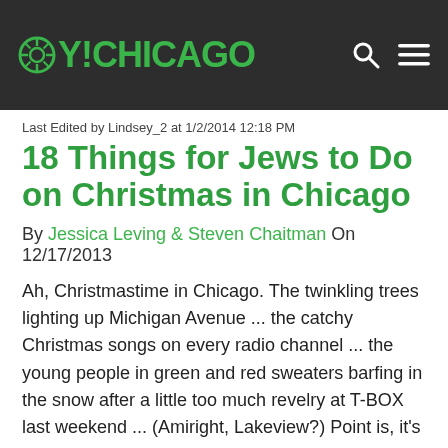OY!CHICAGO
Last Edited by Lindsey_2 at 1/2/2014 12:18 PM
18 Things for Jews to Do on Christmas in Chicago
By Jessica Leving & Steven Chaitman On 12/17/2013
Ah, Christmastime in Chicago. The twinkling trees lighting up Michigan Avenue ... the catchy Christmas songs on every radio channel ... the young people in green and red sweaters barfing in the snow after a little too much revelry at T-BOX last weekend ... (Amiright, Lakeview?) Point is, it's pretty much impossible to escape the Christmas spirit around here lately. And let's be honest – why would you want to?